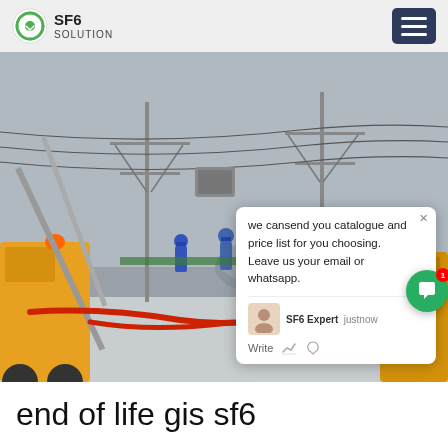SF6 SOLUTION
[Figure (photo): Workers in blue hard hats operating a crane at an electrical substation with high-voltage power lines and transformers. Yellow equipment vehicles visible on left and right. Red hoses on ground. Winter/overcast scene.]
we cansend you catalogue and price list for you choosing. Leave us your email or whatsapp.
SF6 Expert   justnow
Write
SF6China
end of life gis sf6